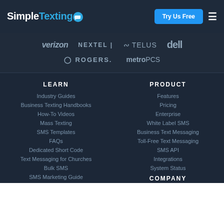[Figure (logo): SimpleTexting logo with blue text and icon, Try Us Free button, hamburger menu]
[Figure (logo): Carrier/partner logos: verizon, NEXTEL, TELUS, dell, ROGERS, metroPCS]
LEARN
Industry Guides
Business Texting Handbooks
How-To Videos
Mass Texting
SMS Templates
FAQs
Dedicated Short Code
Text Messaging for Churches
Bulk SMS
SMS Marketing Guide
PRODUCT
Features
Pricing
Enterprise
White Label SMS
Business Text Messaging
Toll-Free Text Messaging
SMS API
Integrations
System Status
COMPANY